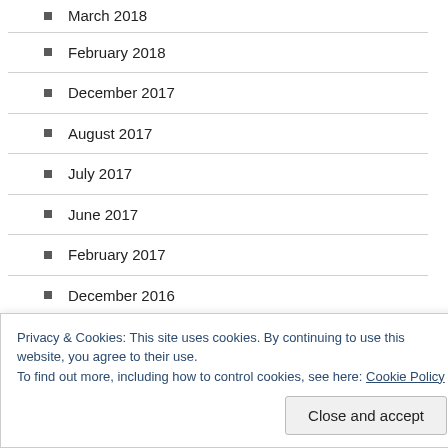March 2018
February 2018
December 2017
August 2017
July 2017
June 2017
February 2017
December 2016
November 2016
October 2016
August 2016
Privacy & Cookies: This site uses cookies. By continuing to use this website, you agree to their use.
To find out more, including how to control cookies, see here: Cookie Policy
Close and accept